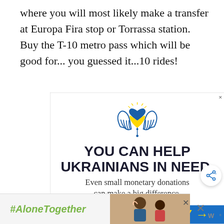where you will most likely make a transfer at Europa Fira stop or Torrassa station.  Buy the T-10 metro pass which will be good for... you guessed it...10 rides!
[Figure (infographic): Advertisement: 'You Can Help Ukrainians in Need. Even small monetary donations can make a big difference. Donate Today →' with Ukraine heart/hands logo, Ad Council branding, and blue/yellow color scheme.]
[Figure (infographic): Bottom banner ad with '#AloneTogether' text in green italic and a photo of two people waving.]